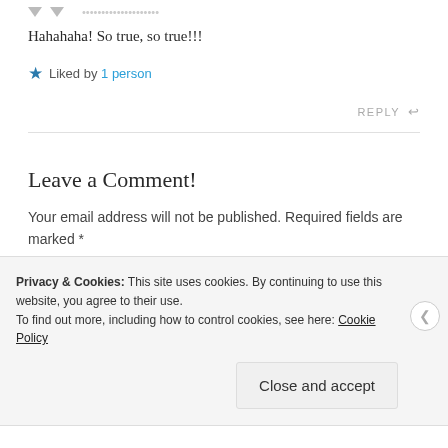Hahahaha! So true, so true!!!
★ Liked by 1 person
REPLY ↩
Leave a Comment!
Your email address will not be published. Required fields are marked *
Privacy & Cookies: This site uses cookies. By continuing to use this website, you agree to their use. To find out more, including how to control cookies, see here: Cookie Policy
Close and accept